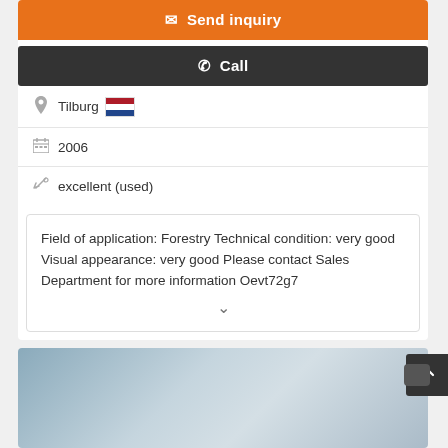✉ Send inquiry
✆ Call
Tilburg [NL flag]
2006
excellent (used)
Field of application: Forestry Technical condition: very good Visual appearance: very good Please contact Sales Department for more information Oevt72g7
[Figure (photo): Industrial machinery equipment photo visible at the bottom of the page]